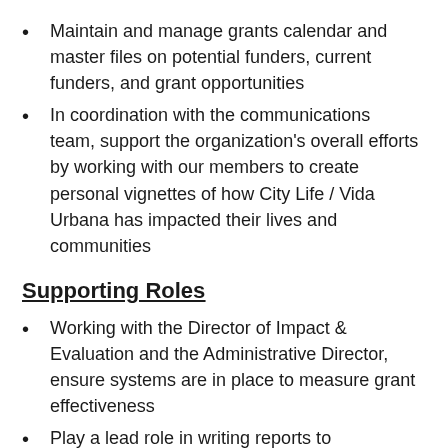Maintain and manage grants calendar and master files on potential funders, current funders, and grant opportunities
In coordination with the communications team, support the organization's overall efforts by working with our members to create personal vignettes of how City Life / Vida Urbana has impacted their lives and communities
Supporting Roles
Working with the Director of Impact & Evaluation and the Administrative Director, ensure systems are in place to measure grant effectiveness
Play a lead role in writing reports to foundation funders; support hospital grant reporting, if needed
Assist the Development Team in developing systems and processes to support the organization's overall fundraising, such as developing a case